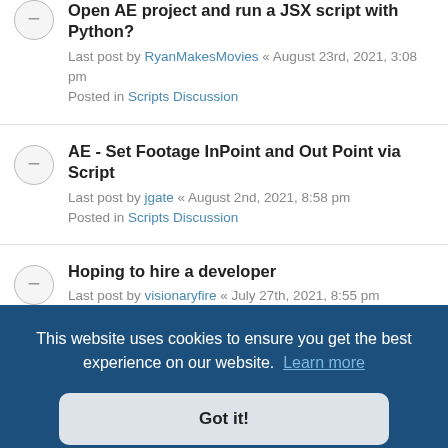Open AE project and run a JSX script with Python?
Last post by RyanMakesMovies « August 23rd, 2021, 3:08 pm
Posted in Scripts Discussion
AE - Set Footage InPoint and Out Point via Script
Last post by jgate « August 2nd, 2021, 8:58 pm
Posted in Scripts Discussion
Hoping to hire a developer
Last post by visionaryfire « July 27th, 2021, 8:55 pm
Posted in Scripts Discussion
This website uses cookies to ensure you get the best experience on our website. Learn more
Got it!
Function to read a CSV file that fully